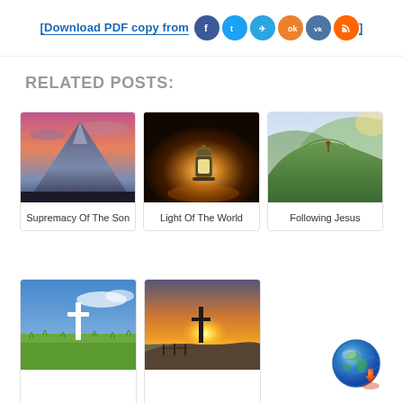[Download PDF copy from MyCatholic.Bible]
RELATED POSTS:
[Figure (photo): Mountain at sunset with pink and purple sky]
Supremacy Of The Son
[Figure (photo): Lantern glowing in a dark field]
Light Of The World
[Figure (photo): Person hiking on a green mountain ridge]
Following Jesus
[Figure (photo): White cross in a green grassy field under blue sky]
[Figure (photo): Cross silhouette at sunset over water with orange sky]